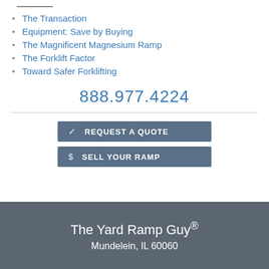The Transaction
Equipment: Save by Buying
The Magnificent Magnesium Ramp
The Forklift Factor
Toward Safer Forklifting
888.977.4224
[Figure (other): REQUEST A QUOTE button with checkmark icon]
[Figure (other): SELL YOUR RAMP button with dollar sign icon]
The Yard Ramp Guy® Mundelein, IL 60060